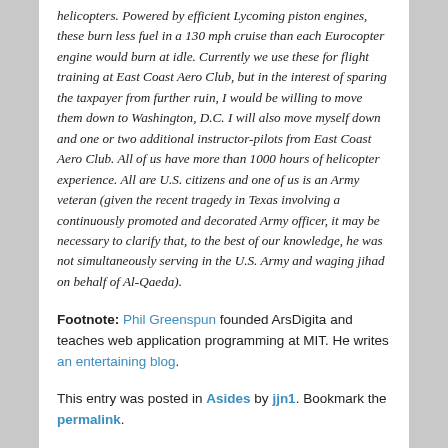helicopters. Powered by efficient Lycoming piston engines, these burn less fuel in a 130 mph cruise than each Eurocopter engine would burn at idle. Currently we use these for flight training at East Coast Aero Club, but in the interest of sparing the taxpayer from further ruin, I would be willing to move them down to Washington, D.C. I will also move myself down and one or two additional instructor-pilots from East Coast Aero Club. All of us have more than 1000 hours of helicopter experience. All are U.S. citizens and one of us is an Army veteran (given the recent tragedy in Texas involving a continuously promoted and decorated Army officer, it may be necessary to clarify that, to the best of our knowledge, he was not simultaneously serving in the U.S. Army and waging jihad on behalf of Al-Qaeda).
Footnote: Phil Greenspun founded ArsDigita and teaches web application programming at MIT. He writes an entertaining blog.
This entry was posted in Asides by jjn1. Bookmark the permalink.